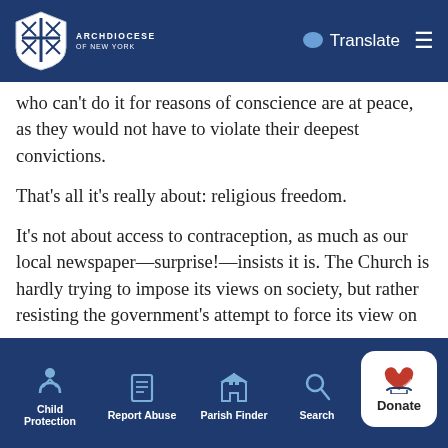Archdiocese of New York — Translate
who can't do it for reasons of conscience are at peace, as they would not have to violate their deepest convictions.
That's all it's really about: religious freedom.
It's not about access to contraception, as much as our local newspaper—surprise!—insists it is. The Church is hardly trying to impose its views on society, but rather resisting the government's attempt to force its view on us.
Vast and unfettered access to chemical contraceptives
Child Protection   Report Abuse   Parish Finder   Search   Donate